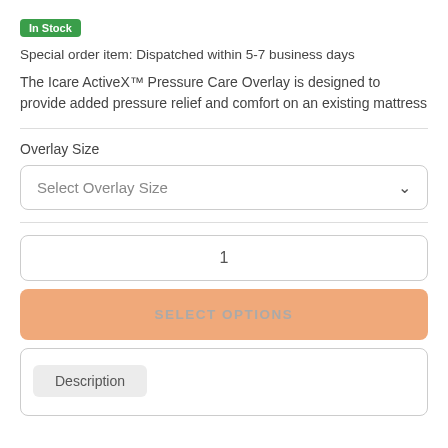In Stock
Special order item: Dispatched within 5-7 business days
The Icare ActiveX™ Pressure Care Overlay is designed to provide added pressure relief and comfort on an existing mattress
Overlay Size
Select Overlay Size
1
SELECT OPTIONS
Description